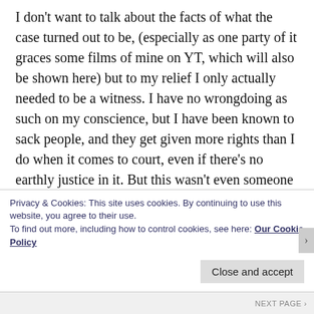I don't want to talk about the facts of what the case turned out to be, (especially as one party of it graces some films of mine on YT, which will also be shown here) but to my relief I only actually needed to be a witness. I have no wrongdoing as such on my conscience, but I have been known to sack people, and they get given more rights than I do when it comes to court, even if there's no earthly justice in it. But this wasn't even someone I had sacked. Because I didn't know that, I had to go to the expense of a decent lawver who naturally deserved to be
Privacy & Cookies: This site uses cookies. By continuing to use this website, you agree to their use.
To find out more, including how to control cookies, see here: Our Cookie Policy
Close and accept